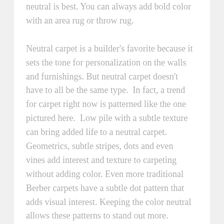neutral is best. You can always add bold color with an area rug or throw rug.
Neutral carpet is a builder's favorite because it sets the tone for personalization on the walls and furnishings. But neutral carpet doesn't have to all be the same type.  In fact, a trend for carpet right now is patterned like the one pictured here.  Low pile with a subtle texture can bring added life to a neutral carpet. Geometrics, subtle stripes, dots and even vines add interest and texture to carpeting without adding color. Even more traditional Berber carpets have a subtle dot pattern that adds visual interest. Keeping the color neutral allows these patterns to stand out more.
Carpet tiles are also allowing people to use